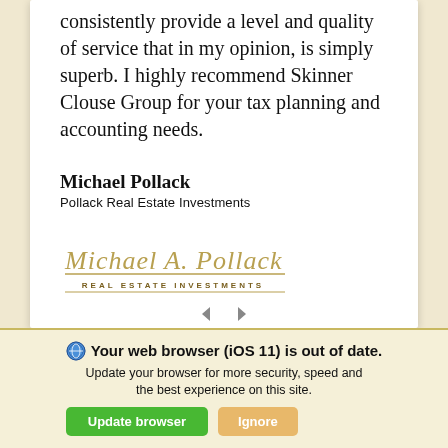consistently provide a level and quality of service that in my opinion, is simply superb. I highly recommend Skinner Clouse Group for your tax planning and accounting needs.
Michael Pollack
Pollack Real Estate Investments
[Figure (logo): Michael A. Pollack Real Estate Investments script logo with gold/tan color and underline]
Your web browser (iOS 11) is out of date. Update your browser for more security, speed and the best experience on this site.